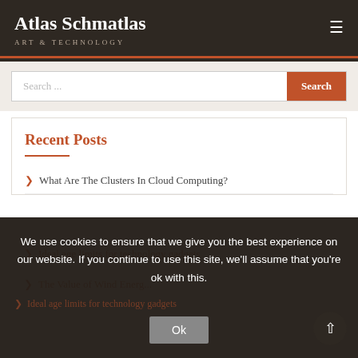Atlas Schmatlas — ART & TECHNOLOGY
Search ...
Recent Posts
What Are The Clusters In Cloud Computing?
Ideal age limits for technology gadgets
The Value of Wind Energ...
We use cookies to ensure that we give you the best experience on our website. If you continue to use this site, we'll assume that you're ok with this.